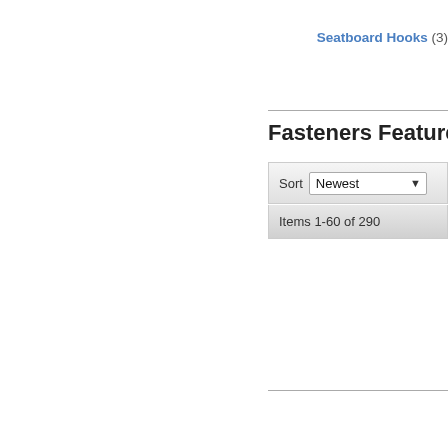Seatboard Hooks (3)
Fasteners Featured Pr
Sort Newest
Items 1-60 of 290